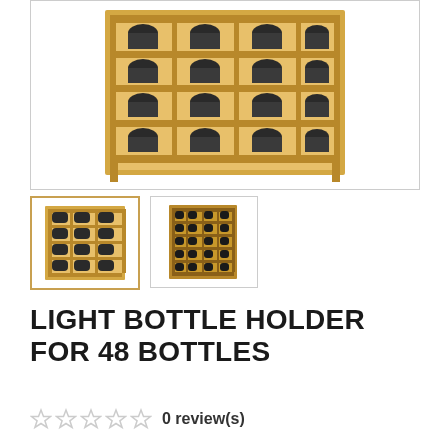[Figure (photo): Main product photo of a wooden wine rack holding approximately 48 bottles arranged in rows, viewed from a slight angle. The rack is made of light pine/oak colored wood with bottles of wine stored horizontally.]
[Figure (photo): Thumbnail 1 (selected/active): front view of the wooden wine bottle rack filled with bottles, square format with golden border.]
[Figure (photo): Thumbnail 2: slightly different angle view of the wooden wine bottle rack filled with bottles, square format.]
LIGHT BOTTLE HOLDER FOR 48 BOTTLES
0 review(s)